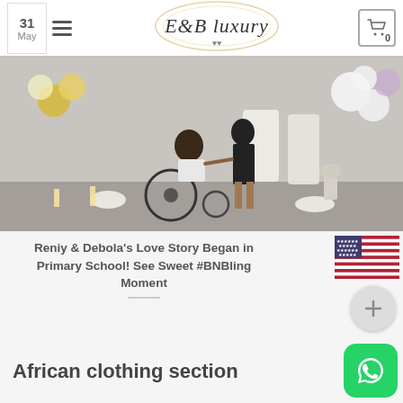E&B Luxury — navigation header with hamburger menu and cart (0)
[Figure (photo): Proposal scene: person in wheelchair holding hands with a standing woman, decorated with white and gold balloons, white flowers, candles, and large letter props in a banquet hall]
Reniy & Debola's Love Story Began in Primary School! See Sweet #BNBling Moment
[Figure (illustration): United States flag emoji]
African clothing section
[Figure (logo): WhatsApp green button icon in bottom right corner]